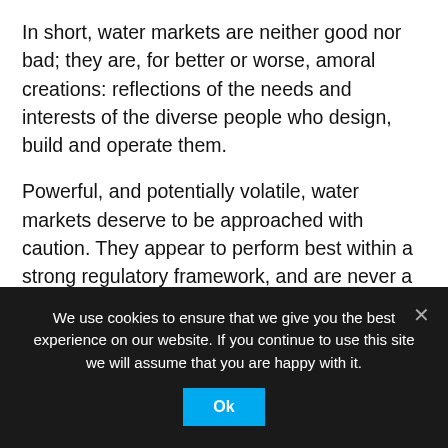In short, water markets are neither good nor bad; they are, for better or worse, amoral creations: reflections of the needs and interests of the diverse people who design, build and operate them.
Powerful, and potentially volatile, water markets deserve to be approached with caution. They appear to perform best within a strong regulatory framework, and are never a panacea. Yet after decades of countless symposia and conferences filled with speakers urging the same mantras–to “reveal water’s true value,” or “integrate water resources management,” or “encourage water efficiency on both sides
We use cookies to ensure that we give you the best experience on our website. If you continue to use this site we will assume that you are happy with it.